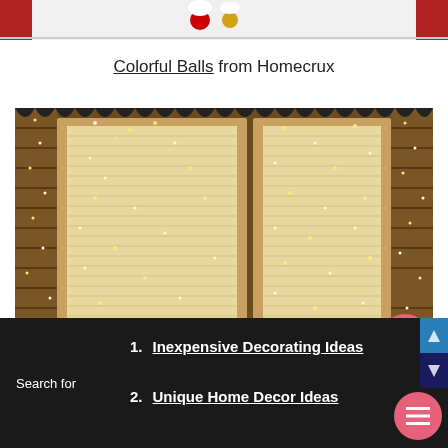[Figure (photo): Top portion of a Christmas door decoration photo, cropped at top of page showing door with red curtains and decorative balls]
Colorful Balls from Homecrux
[Figure (photo): Window decorated with warm white fairy lights hanging in curtain strands over window blinds, with brick wall surrounds and yellow flowers at bottom right, and a pink scroll-to-top button overlay]
Search for
1. Inexpensive Decorating Ideas
2. Unique Home Decor Ideas